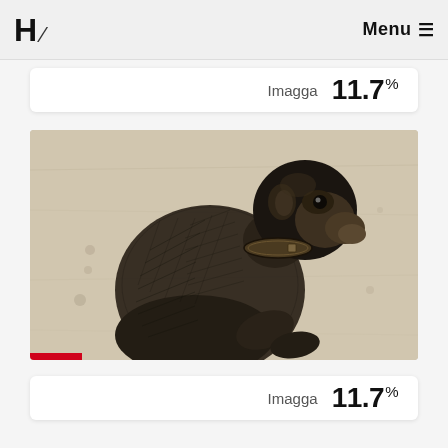H / Menu ≡
Imagga  11.7%
[Figure (illustration): Black and white engraving of a monkey (or ape) wearing a collar, seated and facing right, rendered in crosshatch style, vintage illustration.]
Imagga  11.7%